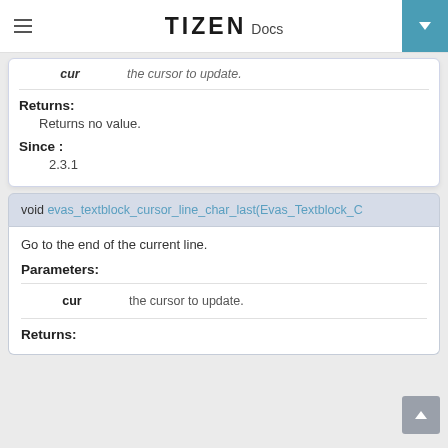TIZEN Docs
| cur | the cursor to update. |
| --- | --- |
| cur | the cursor to update. |
Returns:
Returns no value.
Since :
2.3.1
void evas_textblock_cursor_line_char_last(Evas_Textblock_C
Go to the end of the current line.
Parameters:
| cur | the cursor to update. |
| --- | --- |
| cur | the cursor to update. |
Returns: